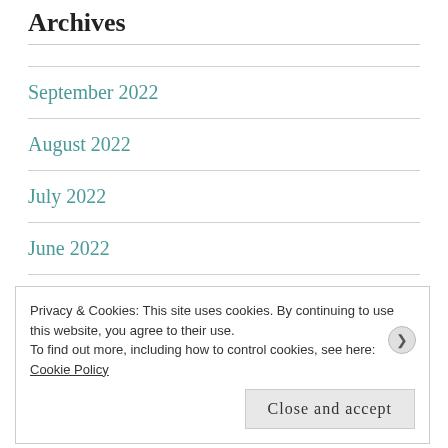Archives
September 2022
August 2022
July 2022
June 2022
May 2022
April 2022
Privacy & Cookies: This site uses cookies. By continuing to use this website, you agree to their use. To find out more, including how to control cookies, see here: Cookie Policy
Close and accept